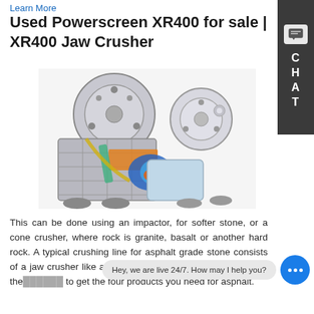Learn More
Used Powerscreen XR400 for sale | XR400 Jaw Crusher
[Figure (photo): Cutaway illustration of the Powerscreen XR400 Jaw Crusher machine showing internal components including jaw mechanism, flywheel, and conveyor parts in color.]
This can be done using an impactor, for softer stone, or a cone crusher, where rock is granite, basalt or another hard rock. A typical crushing line for asphalt grade stone consists of a jaw crusher like a QJ341, a cone crusher like a QH331, the ... to get the four products you need for asphalt.